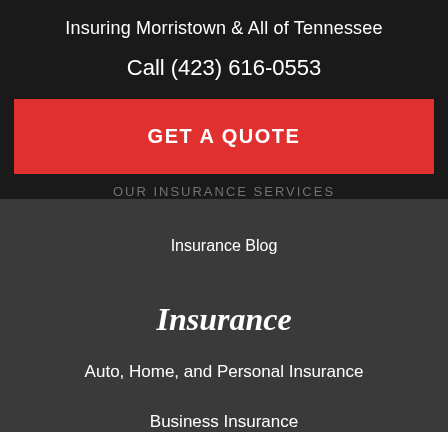Insuring Morristown & All of Tennessee
Call (423) 616-0553
GET A QUOTE
OUR INSURANCE SERVICES
Insurance Blog
Insurance
Auto, Home, and Personal Insurance
Business Insurance